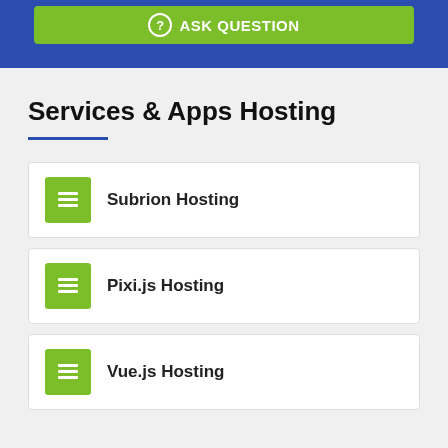[Figure (screenshot): Green 'ASK QUESTION' button on blue background header bar]
Services & Apps Hosting
Subrion Hosting
Pixi.js Hosting
Vue.js Hosting